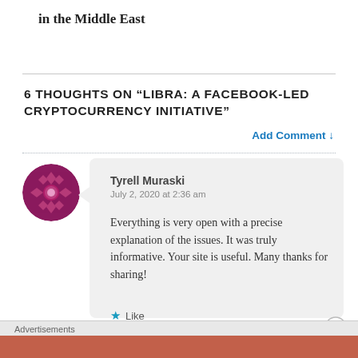in the Middle East
6 THOUGHTS ON “LIBRA: A FACEBOOK-LED CRYPTOCURRENCY INITIATIVE”
Add Comment ↓
Tyrell Muraski
July 2, 2020 at 2:36 am

Everything is very open with a precise explanation of the issues. It was truly informative. Your site is useful. Many thanks for sharing!
★ Like
Advertisements